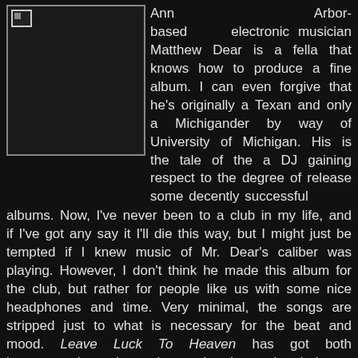[Figure (photo): Album cover image placeholder (broken image icon) with dark background and white border]
Ann Arbor-based electronic musician Matthew Dear is a fella that knows how to produce a fine album. I can even forgive that he's originally a Texan and only a Michigander by way of University of Michigan. His is the tale of the a DJ gaining respect to the degree of release some decently successful albums. Now, I've never been to a club in my life, and if I've got any say it I'll die this way, but I might just be tempted if I knew music of Mr. Dear's caliber was playing. However, I don't think he made this album for the club, but rather for people like us with some nice headphones and time. Very minimal, the songs are stripped just to what is necessary for the beat and mood. Leave Luck To Heaven has got both instrumentals and vocals so there's a nice balance. Dear does a good job at singing to boot. I think this is amongst the finest quality of microhouse made in these United States.
To be had here:
Matthew Dear - Leave Luck To Heaven [160 kbps]